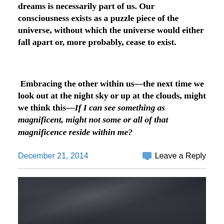dreams is necessarily part of us. Our consciousness exists as a puzzle piece of the universe, without which the universe would either fall apart or, more probably, cease to exist.
Embracing the other within us—the next time we look out at the night sky or up at the clouds, might we think this—If I can see something as magnificent, might not some or all of that magnificence reside within me?
December 21, 2014   Leave a Reply
[Figure (photo): Dark cloudy sky photograph, moody dark grey storm clouds filling the frame]